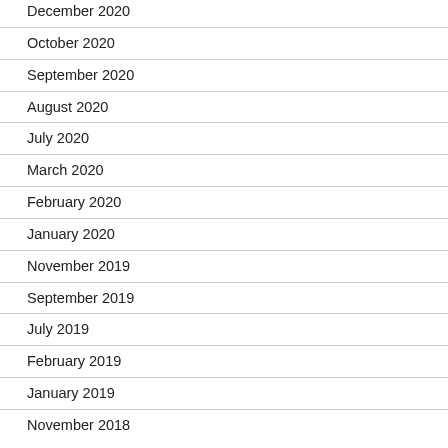December 2020
October 2020
September 2020
August 2020
July 2020
March 2020
February 2020
January 2020
November 2019
September 2019
July 2019
February 2019
January 2019
November 2018